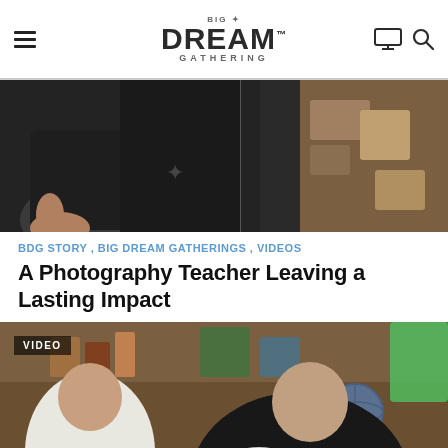BIG DREAM GATHERING
[Figure (photo): Close-up photo of a person in a black shirt; hands and torso visible, indoor setting with shelves in background.]
BDG STORY , BIG DREAM GATHERINGS , VIDEOS
A Photography Teacher Leaving a Lasting Impact
[Figure (photo): Video thumbnail showing two men in a coffee shop / indoor setting. Man on right wears a black Big Dream shirt and holds a coffee cup. A 'VIDEO' badge is shown in the upper left corner.]